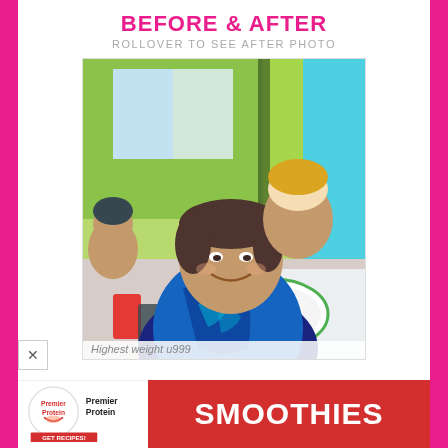BEFORE & AFTER
ROLLOVER TO SEE AFTER PHOTO
[Figure (photo): A man sitting at a restaurant table smiling, wearing a blue patterned shirt, with a plate of food in front of him. A woman is visible in the background. The setting has green and teal colored walls.]
Highest weight  u999
[Figure (logo): Premier Protein logo with 'GET RECIPES!' button on white background, adjacent to red banner reading 'SMOOTHIES']